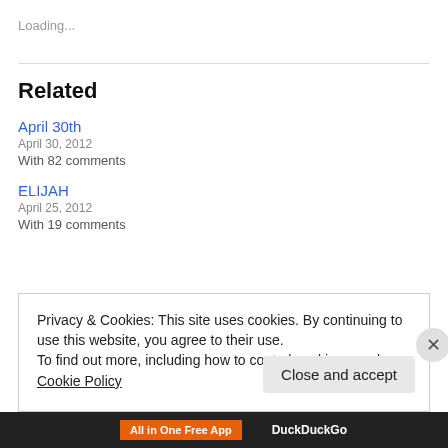Loading...
Related
April 30th
April 30, 2012
With 82 comments
ELIJAH
April 25, 2012
With 19 comments
Privacy & Cookies: This site uses cookies. By continuing to use this website, you agree to their use.
To find out more, including how to control cookies, see here: Cookie Policy
Close and accept